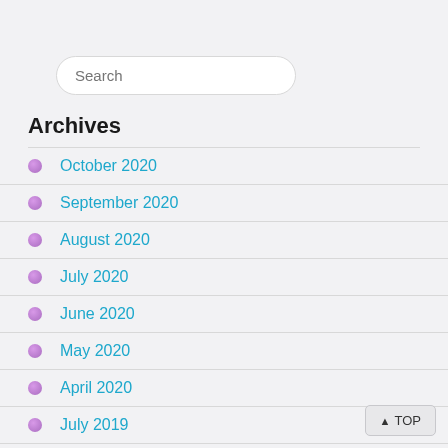Search
Archives
October 2020
September 2020
August 2020
July 2020
June 2020
May 2020
April 2020
July 2019
June 2019
January 2019
▲ TOP